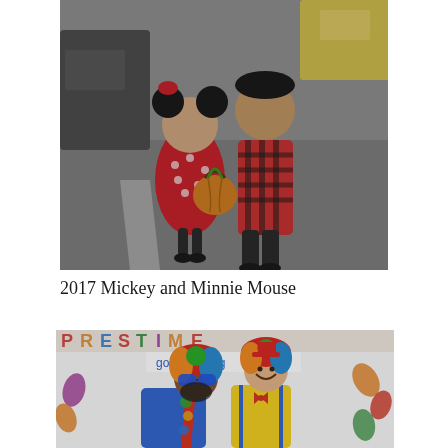[Figure (photo): Two children in Halloween costumes — one dressed as Minnie Mouse in a red polka-dot dress holding a pumpkin basket, the other in a red plaid shirt and black pants, standing on a street/parking lot.]
2017 Mickey and Minnie Mouse
[Figure (photo): Two adults dressed as clowns with colorful rainbow wigs, large glasses, and clown costumes (blue shirt with polka-dot tie and yellow overalls), standing in front of a banner reading 'gocolano.org' with fall-themed decorations.]